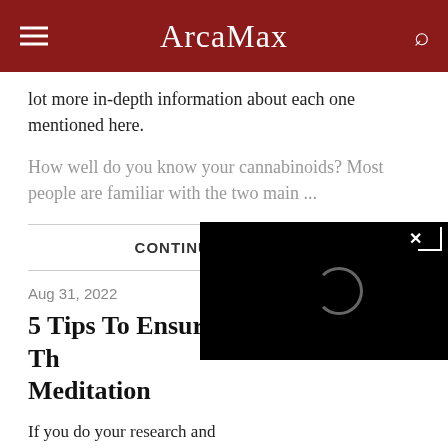ArcaMax
lot more in-depth information about each one mentioned here.
How well do you know your cannabinoids? Most people are familiar with the two main ...
CONTINUE READING ›
Aug 31, 2022
5 Tips To Ensure Th... Meditation
If you do your research and f... should have no problem enh... practic
[Figure (screenshot): Black video player overlay with a loading spinner circle and an X close button in the top right corner]